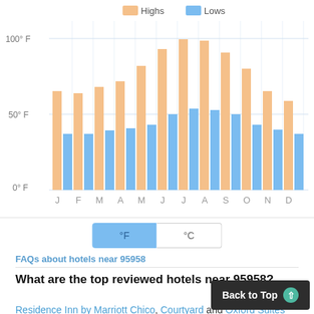[Figure (grouped-bar-chart): ]
°F
°C
FAQs about hotels near 95958
What are the top reviewed hotels near 95958?
Residence Inn by Marriott Chico, Courtyard and Oxford Suites Chico are the best rated hotels based on customer reviews in the last 365 days.